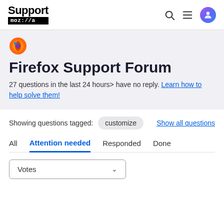Support mozilla//a
[Figure (logo): Firefox browser logo icon (flame/globe)]
Firefox Support Forum
27 questions in the last 24 hours> have no reply. Learn how to help solve them!
Showing questions tagged: customize   Show all questions
All  Attention needed  Responded  Done
Votes